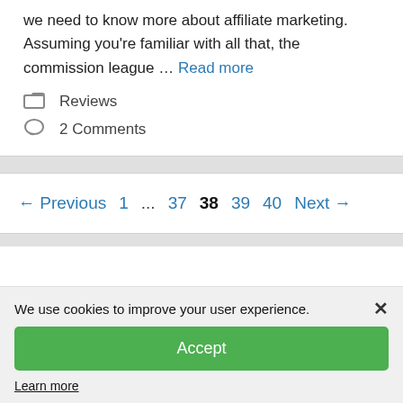we need to know more about affiliate marketing. Assuming you're familiar with all that, the commission league … Read more
Reviews
2 Comments
← Previous 1 … 37 38 39 40 Next →
We use cookies to improve your user experience.
Accept
Learn more